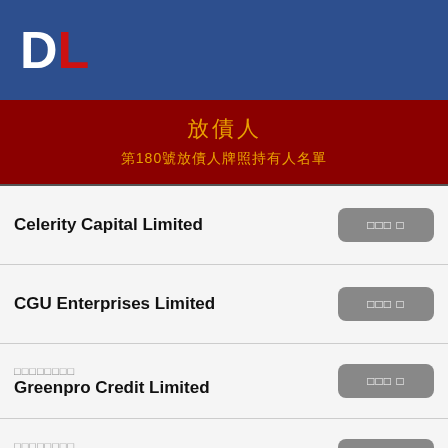DL
放債人 第180號放債人牌照持有人名單
Celerity Capital Limited
CGU Enterprises Limited
格林信貸有限公司 Greenpro Credit Limited
天雲國際有限公司 Worthy Sky International Limited
韜略金融有限公司 Wings Credit Limited
頂峰財務有限公司 Pinnacle Finance Co. Limited